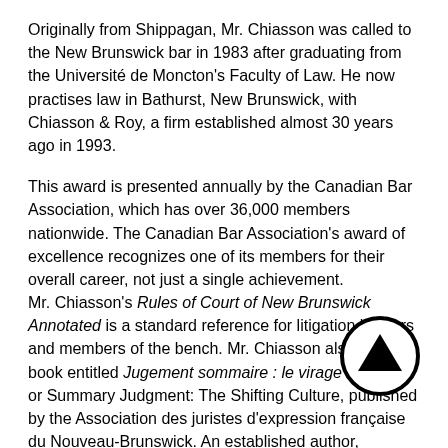Originally from Shippagan, Mr. Chiasson was called to the New Brunswick bar in 1983 after graduating from the Université de Moncton's Faculty of Law. He now practises law in Bathurst, New Brunswick, with Chiasson & Roy, a firm established almost 30 years ago in 1993.
This award is presented annually by the Canadian Bar Association, which has over 36,000 members nationwide. The Canadian Bar Association's award of excellence recognizes one of its members for their overall career, not just a single achievement. Mr. Chiasson's Rules of Court of New Brunswick Annotated is a standard reference for litigation lawyers and members of the bench. Mr. Chiasson also wrote a book entitled Jugement sommaire : le virage culturel, or Summary Judgment: The Shifting Culture, published by the Association des juristes d'expression française du Nouveau-Brunswick. An established author, Mr. Chiasson has published over 60 legal articles, and his books serve as a reference for many legal litigators.
(1430)
This award is not the first in Mr. Chiasson's career, which spanned over 40 years so far. In 1989, he won the Lawyer of the Year award from the Association des juristes d'expression française du Nouveau-Brunswick. In 2004, he won the